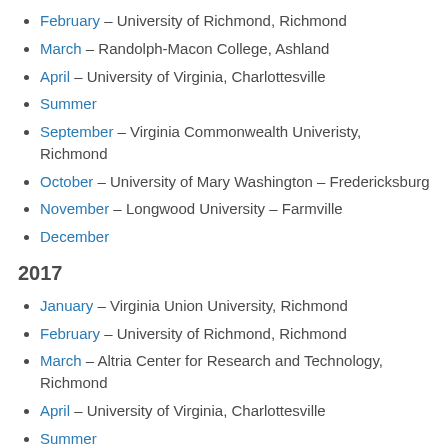February – University of Richmond, Richmond
March – Randolph-Macon College, Ashland
April – University of Virginia, Charlottesville
Summer
September – Virginia Commonwealth Univeristy, Richmond
October – University of Mary Washington – Fredericksburg
November – Longwood University – Farmville
December
2017
January – Virginia Union University, Richmond
February – University of Richmond, Richmond
March – Altria Center for Research and Technology, Richmond
April – University of Virginia, Charlottesville
Summer